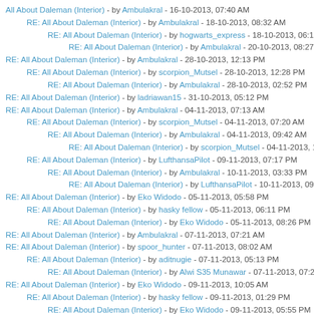All About Daleman (Interior) - by Ambulakral - 16-10-2013, 07:40 AM
RE: All About Daleman (Interior) - by Ambulakral - 18-10-2013, 08:32 AM
RE: All About Daleman (Interior) - by hogwarts_express - 18-10-2013, 06:13 P
RE: All About Daleman (Interior) - by Ambulakral - 20-10-2013, 08:27 AM
RE: All About Daleman (Interior) - by Ambulakral - 28-10-2013, 12:13 PM
RE: All About Daleman (Interior) - by scorpion_Mutsel - 28-10-2013, 12:28 PM
RE: All About Daleman (Interior) - by Ambulakral - 28-10-2013, 02:52 PM
RE: All About Daleman (Interior) - by ladriawan15 - 31-10-2013, 05:12 PM
RE: All About Daleman (Interior) - by Ambulakral - 04-11-2013, 07:13 AM
RE: All About Daleman (Interior) - by scorpion_Mutsel - 04-11-2013, 07:20 AM
RE: All About Daleman (Interior) - by Ambulakral - 04-11-2013, 09:42 AM
RE: All About Daleman (Interior) - by scorpion_Mutsel - 04-11-2013, 10:0
RE: All About Daleman (Interior) - by LufthansaPilot - 09-11-2013, 07:17 PM
RE: All About Daleman (Interior) - by Ambulakral - 10-11-2013, 03:33 PM
RE: All About Daleman (Interior) - by LufthansaPilot - 10-11-2013, 09:00
RE: All About Daleman (Interior) - by Eko Widodo - 05-11-2013, 05:58 PM
RE: All About Daleman (Interior) - by hasky fellow - 05-11-2013, 06:11 PM
RE: All About Daleman (Interior) - by Eko Widodo - 05-11-2013, 08:26 PM
RE: All About Daleman (Interior) - by Ambulakral - 07-11-2013, 07:21 AM
RE: All About Daleman (Interior) - by spoor_hunter - 07-11-2013, 08:02 AM
RE: All About Daleman (Interior) - by aditnugie - 07-11-2013, 05:13 PM
RE: All About Daleman (Interior) - by Alwi S35 Munawar - 07-11-2013, 07:2
RE: All About Daleman (Interior) - by Eko Widodo - 09-11-2013, 10:05 AM
RE: All About Daleman (Interior) - by hasky fellow - 09-11-2013, 01:29 PM
RE: All About Daleman (Interior) - by Eko Widodo - 09-11-2013, 05:55 PM